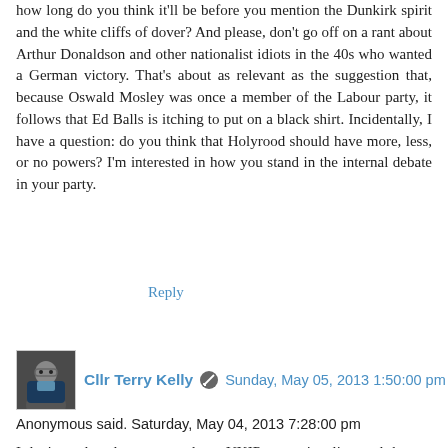how long do you think it'll be before you mention the Dunkirk spirit and the white cliffs of dover? And please, don't go off on a rant about Arthur Donaldson and other nationalist idiots in the 40s who wanted a German victory. That's about as relevant as the suggestion that, because Oswald Mosley was once a member of the Labour party, it follows that Ed Balls is itching to put on a black shirt. Incidentally, I have a question: do you think that Holyrood should have more, less, or no powers? I'm interested in how you stand in the internal debate in your party.
Reply
[Figure (photo): Avatar photo of Cllr Terry Kelly, a man with glasses wearing a dark jacket]
Cllr Terry Kelly  Sunday, May 05, 2013 1:50:00 pm
Anonymous said. Saturday, May 04, 2013 7:28:00 pm
I don't need to draw any analogy, UKIP are nationalists and the snp are nationalists Ukip are fascists and the snp were supportive of the Nazis in WW11 these are facts not just my opinions. An opinion on the constitutional position is not a political predilection, is that too complicated for you to grasp? Mosely was a Labour party member before